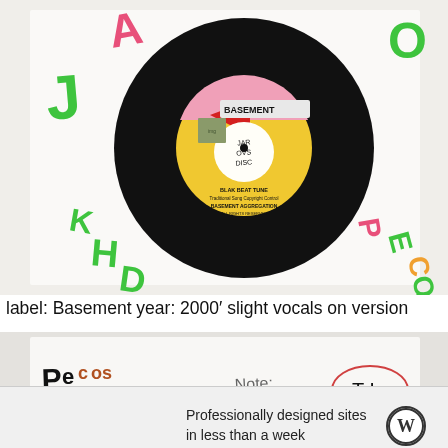[Figure (photo): A vinyl record (7-inch) with a yellow Basement label reading 'BLAK BEAT TUNE' and 'BASEMENT AGGREGATION', with handwritten letters A, J, K, H, D in green/pink on the sleeve, and O, P, E, C, O, S in green/pink on the right side. The center label has 'JAR OVS DISC' handwritten on it.]
label: Basement year: 2000' slight vocals on version
[Figure (photo): A sleeve/cover showing handwritten 'Pecos Sound' in large letters, 'Note: 2000'' written in pencil, a circled 'T L', and partial vinyl record visible, with 'Pecos' in pink on the right side.]
Advertisements
Professionally designed sites in less than a week